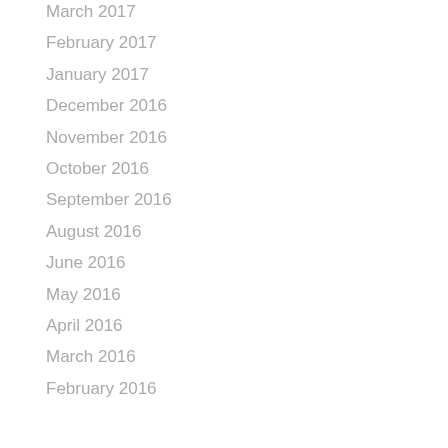March 2017
February 2017
January 2017
December 2016
November 2016
October 2016
September 2016
August 2016
June 2016
May 2016
April 2016
March 2016
February 2016